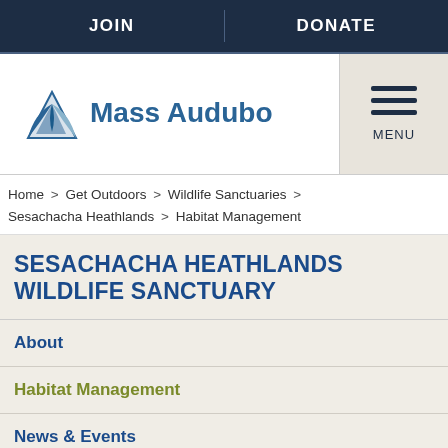JOIN | DONATE
[Figure (logo): Mass Audubon logo with stylized bird/triangle icon in blue and text 'Mass Audubon']
Home > Get Outdoors > Wildlife Sanctuaries > Sesachacha Heathlands > Habitat Management
SESACHACHA HEATHLANDS WILDLIFE SANCTUARY
About
Habitat Management
News & Events
Sanctuary Guidelines